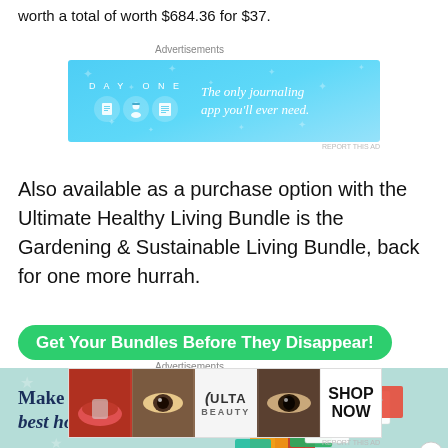worth a total of worth $684.36 for $37.
Advertisements
[Figure (illustration): Day One journaling app advertisement with blue background, app icons, and text 'The only journaling app you'll ever need.']
Also available as a purchase option with the Ultimate Healthy Living Bundle is the Gardening & Sustainable Living Bundle, back for one more hurrah.
Get Your Bundles Before They Disappear!
[Figure (illustration): Homeschool bundle advertisement with teal/mint background, stack of ebooks/courses images on right, and bold text 'Make this your best homeschooling' on left]
Advertisements
[Figure (illustration): Ulta Beauty advertisement showing makeup and eyes photos with 'SHOP NOW' text]